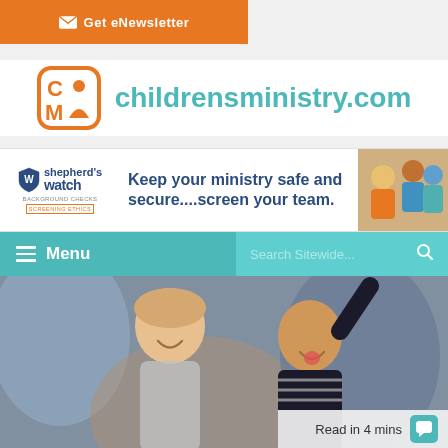Get eNewsletter
[Figure (logo): childrensministry.com logo with orange CM icon and teal site name]
[Figure (infographic): Shepherd's Watch advertisement: Keep your ministry safe and secure....screen your team. Shows logo on left, text in center, photo of children on right.]
Menu | Search Sitewide...
[Figure (photo): Hero photo of excited children raising hands, smiling]
Read in 4 mins